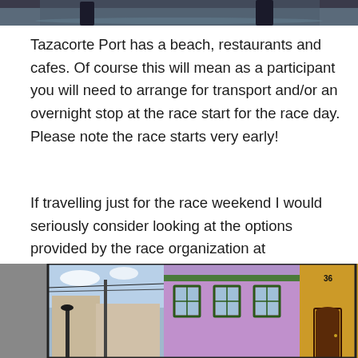[Figure (photo): Top portion of a photo showing people near water, partially cropped at top of page]
Tazacorte Port has a beach, restaurants and cafes. Of course this will mean as a participant you will need to arrange for transport and/or an overnight stop at the race start for the race day. Please note the race starts very early!
If travelling just for the race weekend I would seriously consider looking at the options provided by the race organization at www.transvulcania.com They will have accommodation and travel packages that will provide you with all that you need.
[Figure (photo): Bottom portion showing colorful buildings: purple/lilac building with green-framed windows in the middle, yellow/ochre building with brown door on the right, street scene on the left]